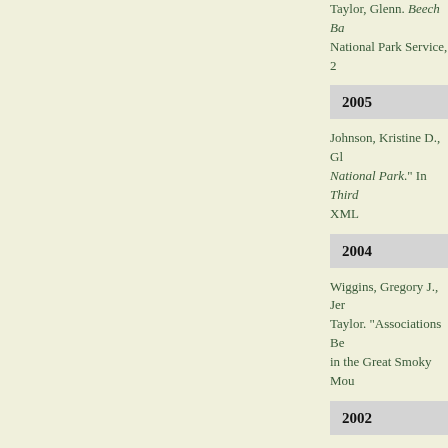Taylor, Glenn. Beech Ba... National Park Service, 2...
2005
Johnson, Kristine D., Gl... National Park." In Third... XML
2004
Wiggins, Gregory J., Jer... Taylor. "Associations Be... in the Great Smoky Mou...
2002
Van Manen, Frank Teuni... Butternut Trees in the So... J. Heglund, Michael L. M... 2002. BibTex Word XML